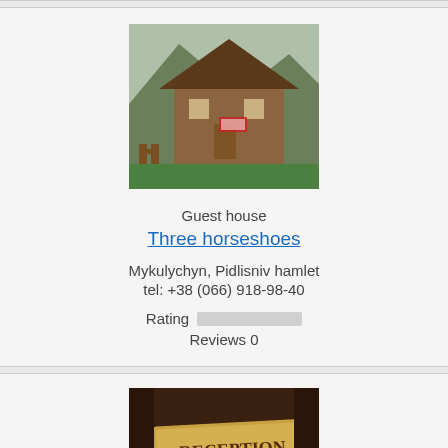[Figure (photo): Photo of a wooden guest house building with mountain backdrop]
Guest house
Three horseshoes
Mykulychyn, Pidlisniv hamlet
tel: +38 (066) 918-98-40
Rating [bar] Reviews 0
[Figure (photo): Photo of a hotel reception sign with keys]
Manor
U Mykhayla